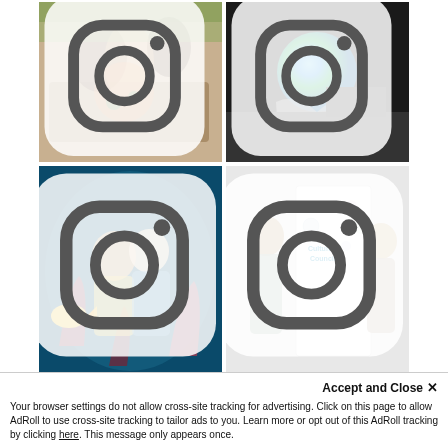[Figure (photo): Two people sitting on a bench next to bronze statues, one person holding a book, outdoor setting]
[Figure (photo): Dark image showing a colorful globe-like art piece being held by hands, dark background]
[Figure (photo): Two children smiling in front of an aquarium tank with colorful fish and coral]
[Figure (photo): Two men standing next to a Cultural Council banner/rollup display in an indoor setting]
[Figure (logo): Cultural Council logo with colorful dot-people icon and blue text]
[Figure (logo): The Palm Beaches logo with palm frond illustration]
[Figure (logo): Palm Beach County seal/logo, circular badge]
Accept and Close ✕
Your browser settings do not allow cross-site tracking for advertising. Click on this page to allow AdRoll to use cross-site tracking to tailor ads to you. Learn more or opt out of this AdRoll tracking by clicking here. This message only appears once.